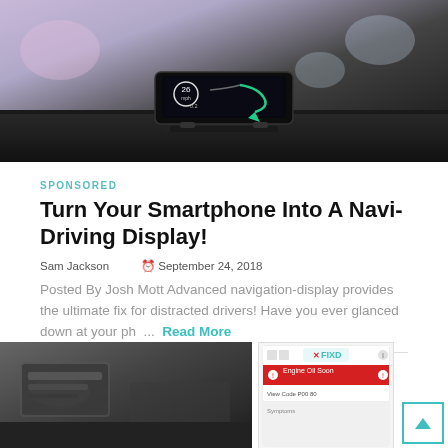[Figure (photo): Photo of a smartphone HUD navigation display device mounted on a car dashboard, showing a green navigation arrow and speed '26 mph' on the screen, with a blurred colorful background.]
SPONSORED
Turn Your Smartphone Into A Navi-Driving Display!
Sam Jackson   ⏰ September 24, 2018
Posted By Josh Mott Advanced navigation-display provides the ultimate fix for distracted drivers! Have you ever glanced down at your ph ... Read More
[Figure (photo): Photo of a car interior dashboard and center console area.]
[Figure (screenshot): Screenshot of the FIXD app showing an 'Engine Oil Soon' alert in red.]